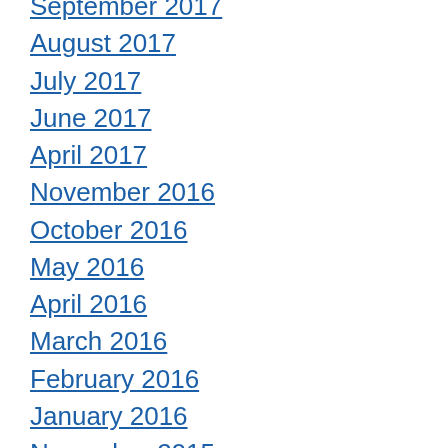September 2017
August 2017
July 2017
June 2017
April 2017
November 2016
October 2016
May 2016
April 2016
March 2016
February 2016
January 2016
November 2015
October 2015